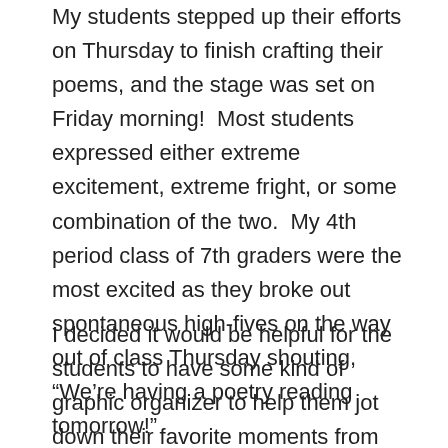My students stepped up their efforts on Thursday to finish crafting their poems, and the stage was set on Friday morning!  Most students expressed either extreme excitement, extreme fright, or some combination of the two.  My 4th period class of 7th graders were the most excited as they broke out spontaneous high-fives on the way out of class Thursday shouting, “We’re having a poetry reading tomorrow!”
I decided it would be helpful for the students to have some kind of graphic organizer to help them jot down their favorite moments from the poetry reading so that they could do a reflection at the end of the poetry reading.  In addition, I set up two basket areas for them to turn in their latest poem drafts and their poetry